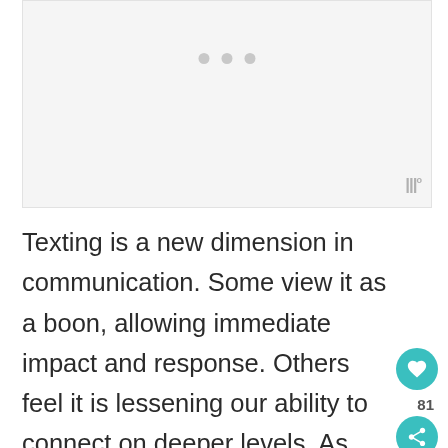[Figure (other): Light gray placeholder image area with three small gray dots centered near the top, and a waveform/logo mark in the bottom-right corner]
Texting is a new dimension in communication. Some view it as a boon, allowing immediate impact and response. Others feel it is lessening our ability to connect on deeper levels. As the parent of an adult child, use texting with care